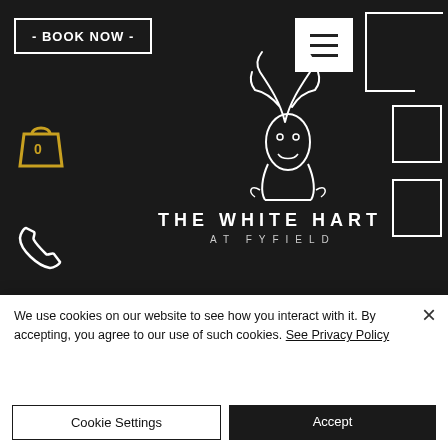[Figure (screenshot): Website header navigation bar with dark background showing BOOK NOW button, hamburger menu icon, shopping bag with 0, phone icon, stag/deer logo illustration, and THE WHITE HART AT FYFIELD brand name]
CONTACT
Main Rd, Fyfield, Abingdon
OX13 5LW, UK
info@whitehart-fyfield.com.
01865 390585
We use cookies on our website to see how you interact with it. By accepting, you agree to our use of such cookies. See Privacy Policy
Cookie Settings
Accept